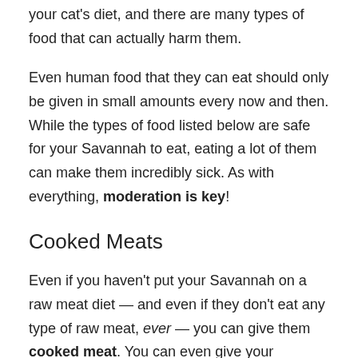your cat's diet, and there are many types of food that can actually harm them.
Even human food that they can eat should only be given in small amounts every now and then. While the types of food listed below are safe for your Savannah to eat, eating a lot of them can make them incredibly sick. As with everything, moderation is key!
Cooked Meats
Even if you haven't put your Savannah on a raw meat diet — and even if they don't eat any type of raw meat, ever — you can give them cooked meat. You can even give your Savannah cat that is on a raw meat diet cooked meat, though they might not like it as much as